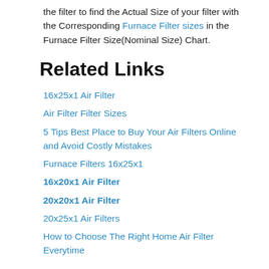the filter to find the Actual Size of your filter with the Corresponding Furnace Filter sizes in the Furnace Filter Size(Nominal Size) Chart.
Related Links
16x25x1 Air Filter
Air Filter Filter Sizes
5 Tips Best Place to Buy Your Air Filters Online and Avoid Costly Mistakes
Furnace Filters 16x25x1
16x20x1 Air Filter
20x20x1 Air Filter
20x25x1 Air Filters
How to Choose The Right Home Air Filter Everytime